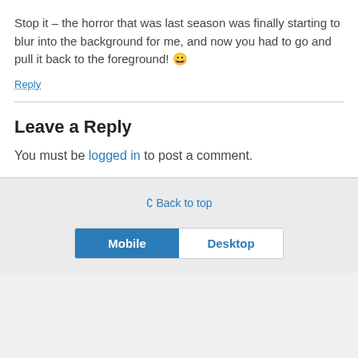Stop it – the horror that was last season was finally starting to blur into the background for me, and now you had to go and pull it back to the foreground! 😀
Reply
Leave a Reply
You must be logged in to post a comment.
⌃ Back to top
Mobile   Desktop